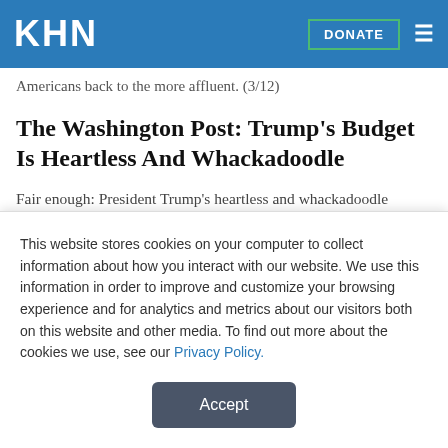KHN  DONATE
Americans back to the more affluent. (3/12)
The Washington Post: Trump's Budget Is Heartless And Whackadoodle
Fair enough: President Trump's heartless and whackadoodle budget, released on Monday, will never actually become law. Even when his party had unified control of government, he couldn't get Capitol Hill to take major portions of his budget terribly seriously. Still, a president's budget plan
This website stores cookies on your computer to collect information about how you interact with our website. We use this information in order to improve and customize your browsing experience and for analytics and metrics about our visitors both on this website and other media. To find out more about the cookies we use, see our Privacy Policy.